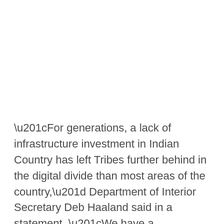“For generations, a lack of infrastructure investment in Indian Country has left Tribes further behind in the digital divide than most areas of the country,” Department of Interior Secretary Deb Haaland said in a statement. “We have a responsibility as a country to build infrastructure that will fuel economic development, keep communities safe, and ensure everyone has opportunities to succeed.”
According to the Commerce Department, census